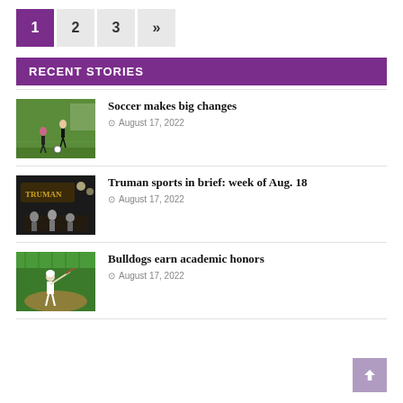1 (active), 2, 3, »
RECENT STORIES
[Figure (photo): Soccer player on green field]
Soccer makes big changes
August 17, 2022
[Figure (photo): Truman sports indoor venue with players]
Truman sports in brief: week of Aug. 18
August 17, 2022
[Figure (photo): Baseball player on green field]
Bulldogs earn academic honors
August 17, 2022